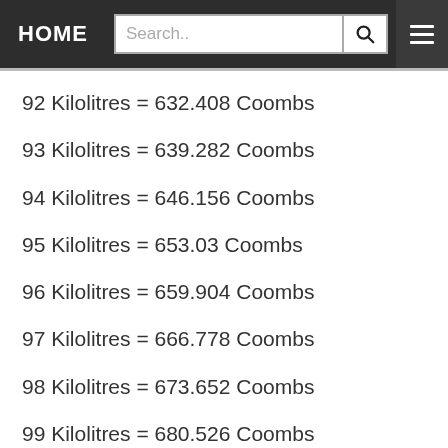HOME | Search..
92 Kilolitres = 632.408 Coombs
93 Kilolitres = 639.282 Coombs
94 Kilolitres = 646.156 Coombs
95 Kilolitres = 653.03 Coombs
96 Kilolitres = 659.904 Coombs
97 Kilolitres = 666.778 Coombs
98 Kilolitres = 673.652 Coombs
99 Kilolitres = 680.526 Coombs
100 Kilolitres = 687.4 Coombs
101 Kilolitres = 694.274 Coombs